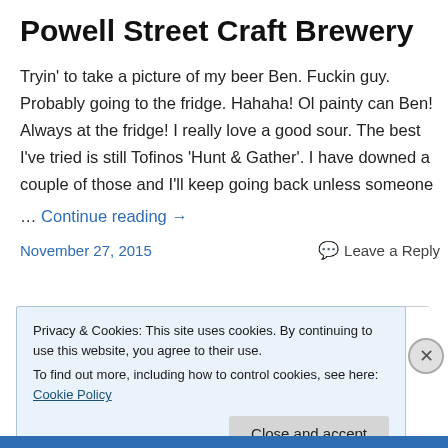Powell Street Craft Brewery
Tryin' to take a picture of my beer Ben. Fuckin guy. Probably going to the fridge. Hahaha! Ol painty can Ben! Always at the fridge! I really love a good sour. The best I've tried is still Tofinos 'Hunt & Gather'. I have downed a couple of those and I'll keep going back unless someone
… Continue reading →
November 27, 2015     Leave a Reply
Privacy & Cookies: This site uses cookies. By continuing to use this website, you agree to their use.
To find out more, including how to control cookies, see here: Cookie Policy
Close and accept